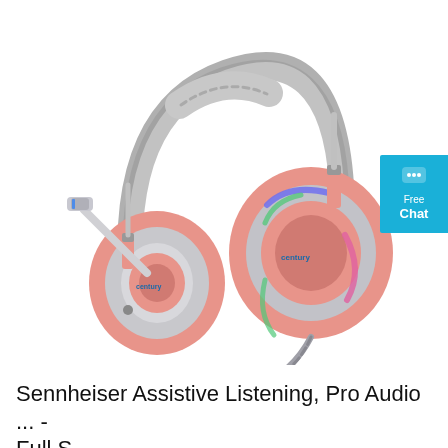[Figure (photo): A pink and gray gaming headset with over-ear cushions, an adjustable headband, a boom microphone on the left side, RGB lighting on the ear cup, and a braided cable. There is a blue 'Free Chat' badge/button overlay in the upper right corner.]
Sennheiser Assistive Listening, Pro Audio ... - Full S...